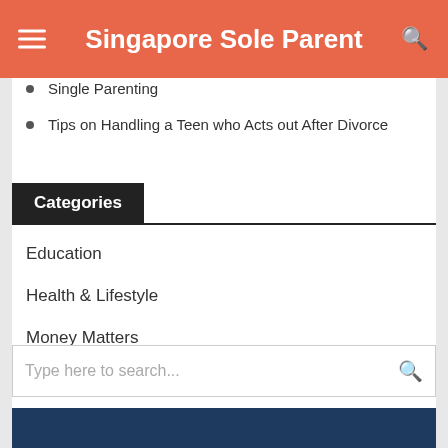Singapore Sole Parent
Single Parenting
Tips on Handling a Teen who Acts out After Divorce
Categories
Education
Health & Lifestyle
Money Matters
Parenting
Separation & Divorce
Uncategorized
[Figure (screenshot): Search box with placeholder text 'Type here to search...' and a search icon button]
[Figure (photo): Partial image at bottom of page, dark blue background]